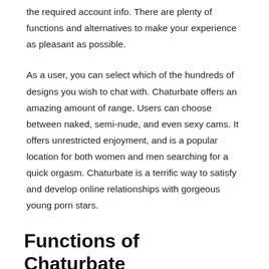the required account info. There are plenty of functions and alternatives to make your experience as pleasant as possible.
As a user, you can select which of the hundreds of designs you wish to chat with. Chaturbate offers an amazing amount of range. Users can choose between naked, semi-nude, and even sexy cams. It offers unrestricted enjoyment, and is a popular location for both women and men searching for a quick orgasm. Chaturbate is a terrific way to satisfy and develop online relationships with gorgeous young porn stars.
Functions of Chaturbate
Some of the very best Chaturbate features involve generating income. By transmitting yourself for others to watch, you can make tokens and begin making some cash from home. To get started, you can follow their broadcasting pointers area. There are likewise video tutorials and guidance on how to develop a big fan base and